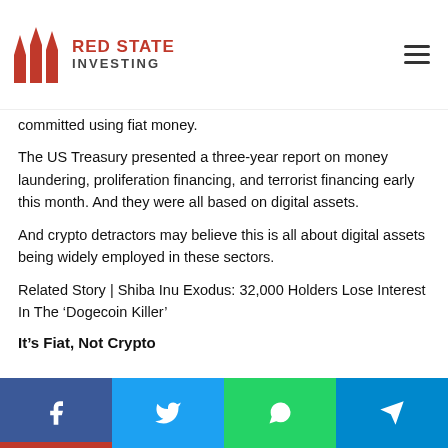Red State Investing
committed using fiat money.
The US Treasury presented a three-year report on money laundering, proliferation financing, and terrorist financing early this month. And they were all based on digital assets.
And crypto detractors may believe this is all about digital assets being widely employed in these sectors.
Related Story | Shiba Inu Exodus: 32,000 Holders Lose Interest In The ‘Dogecoin Killer’
It’s Fiat, Not Crypto